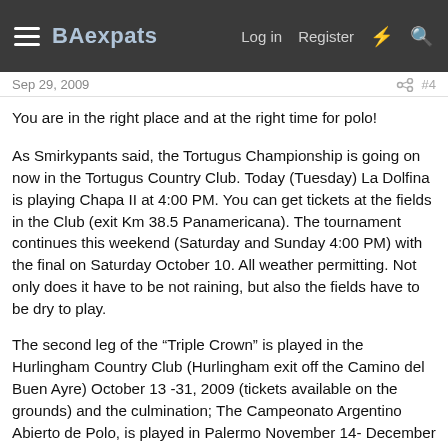BAexpats | Log in | Register
Sep 29, 2009 #4
You are in the right place and at the right time for polo!
As Smirkypants said, the Tortugus Championship is going on now in the Tortugus Country Club. Today (Tuesday) La Dolfina is playing Chapa II at 4:00 PM. You can get tickets at the fields in the Club (exit Km 38.5 Panamericana). The tournament continues this weekend (Saturday and Sunday 4:00 PM) with the final on Saturday October 10. All weather permitting. Not only does it have to be not raining, but also the fields have to be dry to play.
The second leg of the “Triple Crown” is played in the Hurlingham Country Club (Hurlingham exit off the Camino del Buen Ayre) October 13 -31, 2009 (tickets available on the grounds) and the culmination; The Campeonato Argentino Abierto de Polo, is played in Palermo November 14- December 5, 2009. Tickets are not on sale for Palermo yet, should be through Ticketek soon. Seems like most people buy the abono (“season pass”), and many don’t go to the preliminary matches (stadium seems a bit empty) but an